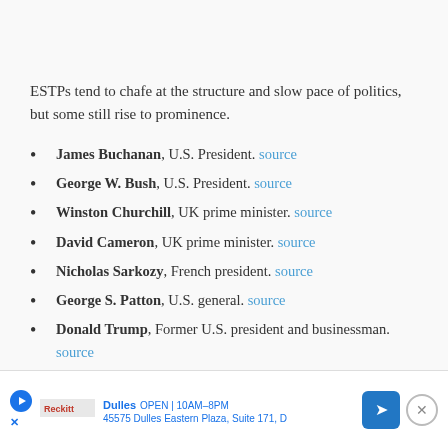ESTPs tend to chafe at the structure and slow pace of politics, but some still rise to prominence.
James Buchanan, U.S. President. source
George W. Bush, U.S. President. source
Winston Churchill, UK prime minister. source
David Cameron, UK prime minister. source
Nicholas Sarkozy, French president. source
George S. Patton, U.S. general. source
Donald Trump, Former U.S. president and businessman. source
Malcolm X, U.S. political activist. source
[Figure (screenshot): Advertisement bar showing Dulles store location: 45575 Dulles Eastern Plaza, Suite 171, D — OPEN 10AM–8PM, with navigation arrow icon and close button]